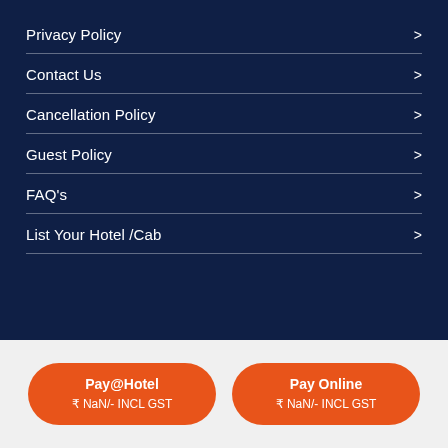Privacy Policy
Contact Us
Cancellation Policy
Guest Policy
FAQ's
List Your Hotel /Cab
Pay@Hotel ₹ NaN/- INCL GST
Pay Online ₹ NaN/- INCL GST